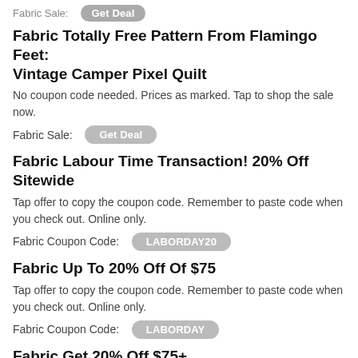Fabric Sale: [Get Deal]
Fabric Totally Free Pattern From Flamingo Feet: Vintage Camper Pixel Quilt
No coupon code needed. Prices as marked. Tap to shop the sale now.
Fabric Sale: [Get Deal]
Fabric Labour Time Transaction! 20% Off Sitewide
Tap offer to copy the coupon code. Remember to paste code when you check out. Online only.
Fabric Coupon Code: LABORDAY20
Fabric Up To 20% Off Of $75
Tap offer to copy the coupon code. Remember to paste code when you check out. Online only.
Fabric Coupon Code: LABORDAY
Fabric Get 20% Off $75+
Tap offer to copy the coupon code. Remember to paste code when you check out. Online only.